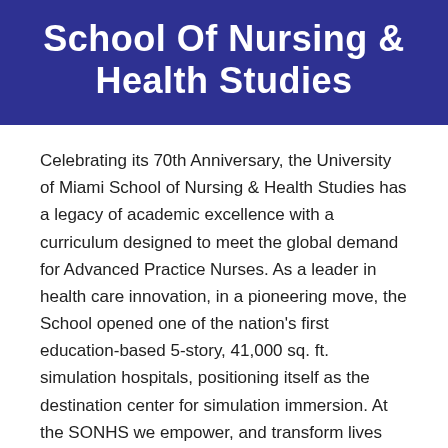School Of Nursing & Health Studies
Celebrating its 70th Anniversary, the University of Miami School of Nursing & Health Studies has a legacy of academic excellence with a curriculum designed to meet the global demand for Advanced Practice Nurses. As a leader in health care innovation, in a pioneering move, the School opened one of the nation's first education-based 5-story, 41,000 sq. ft. simulation hospitals, positioning itself as the destination center for simulation immersion. At the SONHS we empower, and transform lives and health care through Education, Research, Innovation and Service across the hemisphere. #CaneNurse